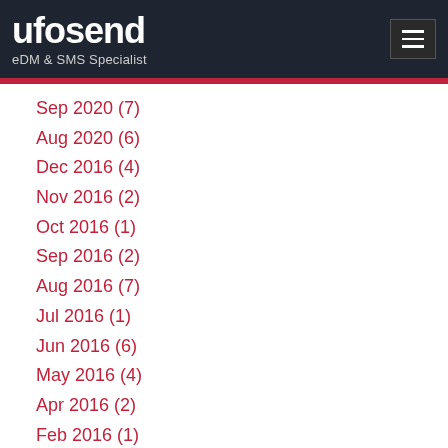ufosend – eDM & SMS Specialist
Sep 2020 (7)
Aug 2020 (6)
Dec 2016 (4)
Nov 2016 (2)
Oct 2016 (1)
Sep 2016 (2)
Aug 2016 (7)
Jul 2016 (1)
Jun 2016 (6)
May 2016 (4)
Apr 2016 (2)
Feb 2016 (1)
Jan 2016 (2)
Mar 2015 (2)
Feb 2015 (2)
Dec 2014 (2)